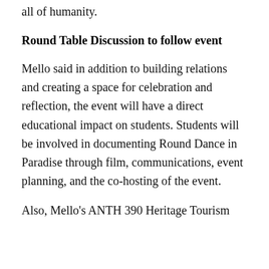shaped and the future things with affecting all of humanity.
Round Table Discussion to follow event
Mello said in addition to building relations and creating a space for celebration and reflection, the event will have a direct educational impact on students. Students will be involved in documenting Round Dance in Paradise through film, communications, event planning, and the co-hosting of the event.
Also, Mello's ANTH 390 Heritage Tourism